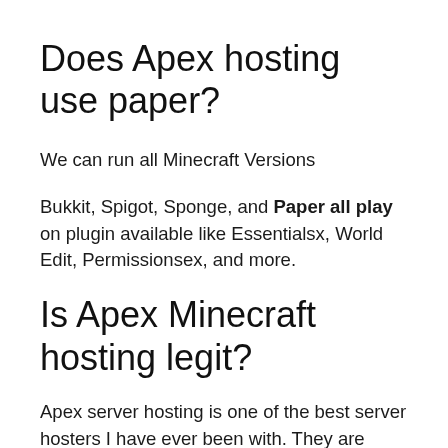Does Apex hosting use paper?
We can run all Minecraft Versions
Bukkit, Spigot, Sponge, and Paper all play on plugin available like Essentialsx, World Edit, Permissionsex, and more.
Is Apex Minecraft hosting legit?
Apex server hosting is one of the best server hosters I have ever been with. They are super reliable and cheap servers. … I would definitely recommend them to